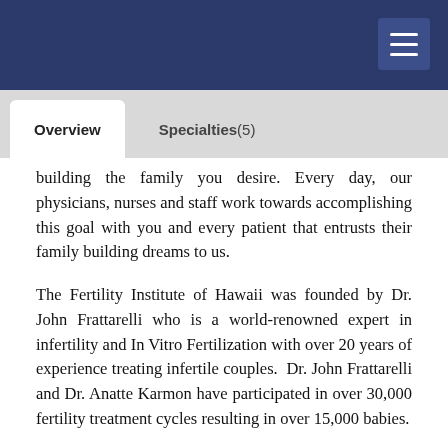Overview | Specialties (5)
building the family you desire. Every day, our physicians, nurses and staff work towards accomplishing this goal with you and every patient that entrusts their family building dreams to us.
The Fertility Institute of Hawaii was founded by Dr. John Frattarelli who is a world-renowned expert in infertility and In Vitro Fertilization with over 20 years of experience treating infertile couples. Dr. John Frattarelli and Dr. Anatte Karmon have participated in over 30,000 fertility treatment cycles resulting in over 15,000 babies.
Our desire is to produce a pregnancy that will result in the birth of a normal child using methods that optimize the utilization of your